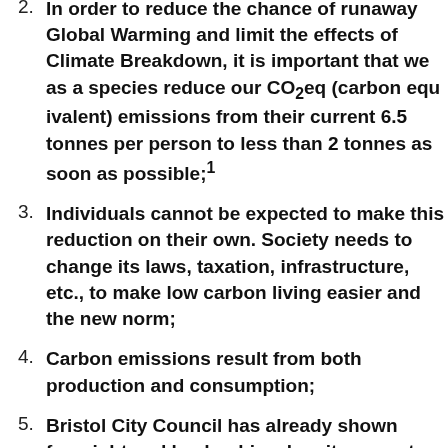In order to reduce the chance of runaway Global Warming and limit the effects of Climate Breakdown, it is important that we as a species reduce our CO2eq (carbon equivalent) emissions from their current 6.5 tonnes per person per year to less than 2 tonnes as soon as possible;¹
Individuals cannot be expected to make this reduction on their own. Society needs to change its laws, taxation, infrastructure, etc., to make low carbon living easier and the new norm;
Carbon emissions result from both production and consumption;
Bristol City Council has already shown foresight and leadership when it comes to addressing the issue of Climate Breakdown, having met its corporate carbon reduction target three years early, published the Cit…